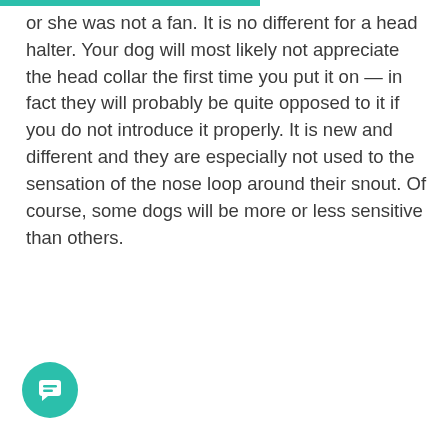or she was not a fan. It is no different for a head halter. Your dog will most likely not appreciate the head collar the first time you put it on — in fact they will probably be quite opposed to it if you do not introduce it properly. It is new and different and they are especially not used to the sensation of the nose loop around their snout. Of course, some dogs will be more or less sensitive than others.
[Figure (other): Teal circular chat/message button icon in the bottom-left corner of the page]